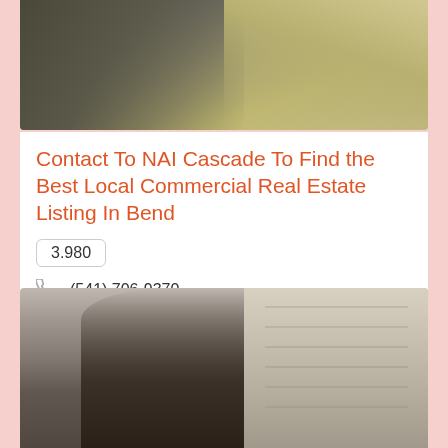[Figure (photo): Top photo showing a person from behind, wearing an olive/khaki jacket, with a beige building in the background]
Contact To NAI Cascade To Find the Best Local Commercial Real Estate Listing In Bend
3.980
(541) 706-9370
243 SW Scalehouse Loop, Bend, Oregon, USA, 97702
[Figure (photo): Bottom photo showing a couple from behind, embracing, looking at a residential building with balconies]